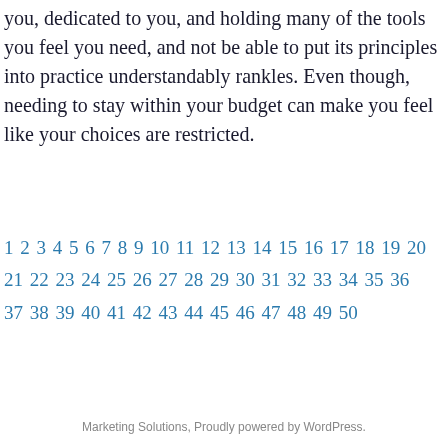you, dedicated to you, and holding many of the tools you feel you need, and not be able to put its principles into practice understandably rankles. Even though, needing to stay within your budget can make you feel like your choices are restricted.
1 2 3 4 5 6 7 8 9 10 11 12 13 14 15 16 17 18 19 20 21 22 23 24 25 26 27 28 29 30 31 32 33 34 35 36 37 38 39 40 41 42 43 44 45 46 47 48 49 50
Marketing Solutions, Proudly powered by WordPress.